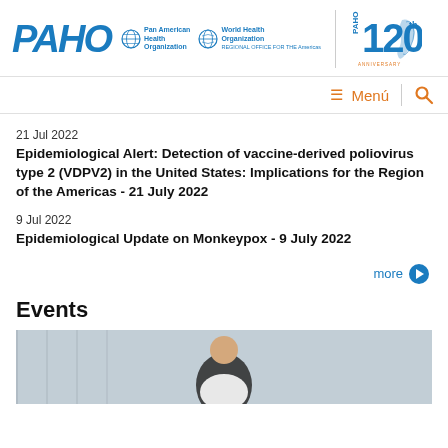PAHO | Pan American Health Organization | World Health Organization | PAHO 120th Anniversary
≡ Menú
21 Jul 2022
Epidemiological Alert: Detection of vaccine-derived poliovirus type 2 (VDPV2) in the United States: Implications for the Region of the Americas - 21 July 2022
9 Jul 2022
Epidemiological Update on Monkeypox - 9 July 2022
more →
Events
[Figure (photo): A person in a medical or clinical setting, partially visible, background with white curtains or dividers.]